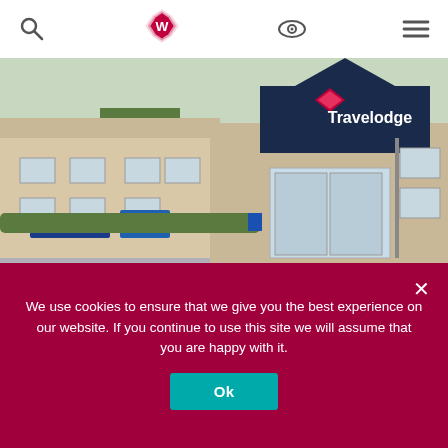Navigation bar with search icon, Whatpub logo, eye icon, and hamburger menu
[Figure (photo): Exterior photo of a Travelodge hotel building with brick facade, Travelodge signage on a dark triangular gable, landscaped bushes, car park area in foreground.]
HOTEL
TRAVELODGE WAKEFIELD WOOLLEY EDGE
We use cookies to ensure that we give you the best experience on our website. If you continue to use this site we will assume that you are happy with it.